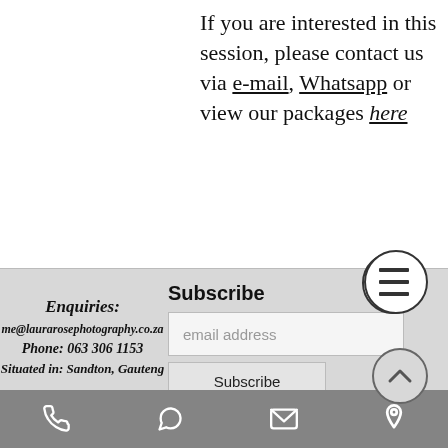If you are interested in this session, please contact us via e-mail, Whatsapp or view our packages here
Subscribe
email address
Subscribe
Enquiries:
me@laurarosephotography.co.za
Phone: 063 306 1153
Situated in: Sandton, Gauteng
[phone icon] [whatsapp icon] [email icon] [location icon]